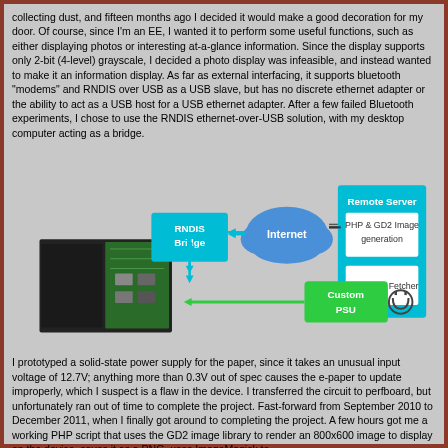collecting dust, and fifteen months ago I decided it would make a good decoration for my door. Of course, since I'm an EE, I wanted it to perform some useful functions, such as either displaying photos or interesting at-a-glance information. Since the display supports only 2-bit (4-level) grayscale, I decided a photo display was infeasible, and instead wanted to make it an information display. As far as external interfacing, it supports bluetooth "modems" and RNDIS over USB as a USB slave, but has no discrete ethernet adapter or the ability to act as a USB host for a USB ethernet adapter. After a few failed Bluetooth experiments, I chose to use the RNDIS ethernet-over-USB solution, with my desktop computer acting as a bridge.
[Figure (schematic): Network diagram showing RNDIS Bridge connected to Internet (cloud) which connects to Remote Server containing PHP & GD2 Image generation and RSS Feed Fetcher modules. Custom PSU connects to the hardware device (e-paper display board). Arrows show data flow between components.]
I prototyped a solid-state power supply for the paper, since it takes an unusual input voltage of 12.7V; anything more than 0.3V out of spec causes the e-paper to update improperly, which I suspect is a flaw in the device. I transferred the circuit to perfboard, but unfortunately ran out of time to complete the project. Fast-forward from September 2010 to December 2011, when I finally got around to completing the project. A few hours got me a working PHP script that uses the GD2 image library to render an 800x600 image to display on the device, saves it as a PNG, uses ImageMagick to